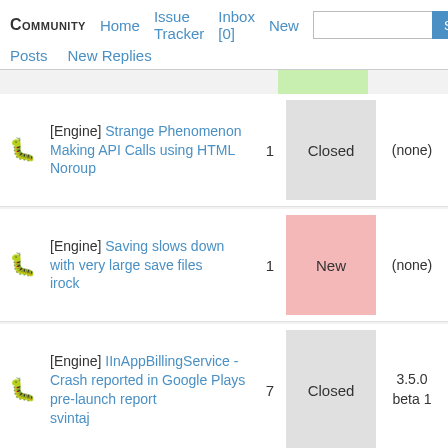Community | Home | Issue Tracker | Inbox [0] | New | Posts | New Replies | Search
[Engine] Strange Phenomenon Making API Calls using HTML Noroup | 1 | Closed | (none)
[Engine] Saving slows down with very large save files irock | 1 | New | (none)
[Engine] IInAppBillingService - Crash reported in Google Plays pre-launch report svintaj | 7 | Closed | 3.5.0 beta 1
[Engine] Get and Set -> Alpha Value per pixel? | 2 | New | Stencyl